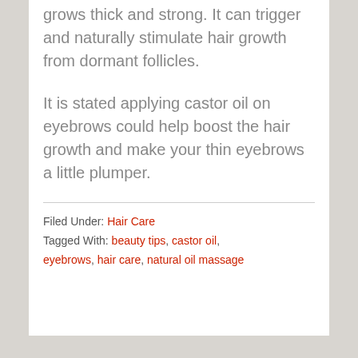ensures that the hair strand grows thick and strong. It can trigger and naturally stimulate hair growth from dormant follicles.
It is stated applying castor oil on eyebrows could help boost the hair growth and make your thin eyebrows a little plumper.
Filed Under: Hair Care Tagged With: beauty tips, castor oil, eyebrows, hair care, natural oil massage